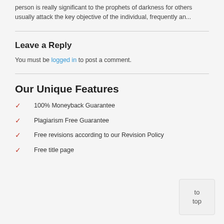person is really significant to the prophets of darkness for others usually attack the key objective of the individual, frequently an...
Leave a Reply
You must be logged in to post a comment.
Our Unique Features
100% Moneyback Guarantee
Plagiarism Free Guarantee
Free revisions according to our Revision Policy
Free title page